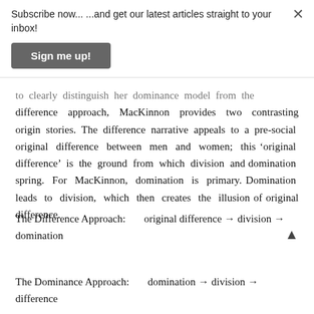Subscribe now... ...and get our latest articles straight to your inbox!
Sign me up!
to clearly distinguish her dominance model from the difference approach, MacKinnon provides two contrasting origin stories. The difference narrative appeals to a pre-social original difference between men and women; this 'original difference' is the ground from which division and domination spring. For MacKinnon, domination is primary. Domination leads to division, which then creates the illusion of original difference.
The Difference Approach:      original difference → division → domination
The Dominance Approach:        domination → division → difference